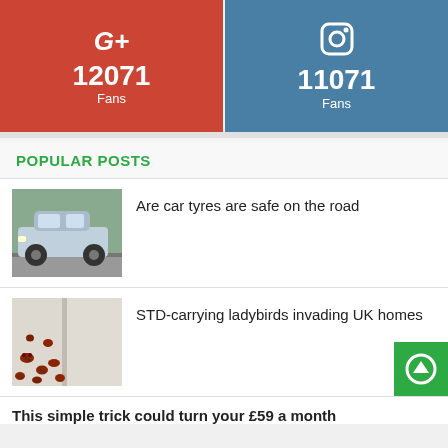[Figure (infographic): Google+ social media button showing 12071 Fans on red background]
[Figure (infographic): Instagram social media button showing 11071 Fans on blue background]
POPULAR POSTS
[Figure (photo): Photo of a car driving on the road]
Are car tyres are safe on the road
[Figure (photo): Photo of ladybirds on a wall/window]
STD-carrying ladybirds invading UK homes
This simple trick could turn your £59 a month